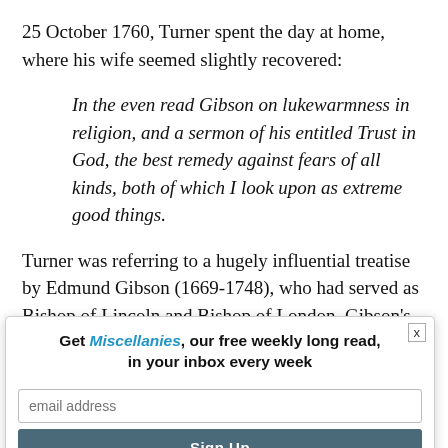25 October 1760, Turner spent the day at home, where his wife seemed slightly recovered:
In the even read Gibson on lukewarmness in religion, and a sermon of his entitled Trust in God, the best remedy against fears of all kinds, both of which I look upon as extreme good things.
Turner was referring to a hugely influential treatise by Edmund Gibson (1669-1748), who had served as Bishop of Lincoln and Bishop of London. Gibson's Trust in God assured readers that:
God has the sole disposal of the blessings of ... he alone that maketh Poor and maketh Rich, of which men of all kinds are disturbed at the general vicissitude and